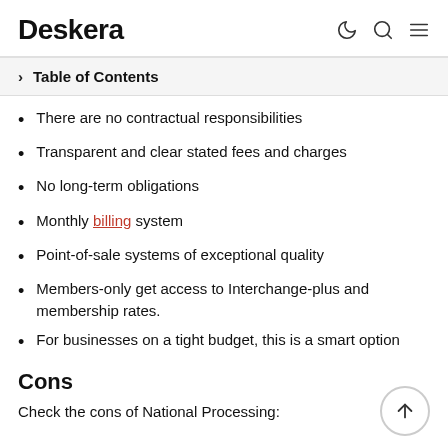Deskera
Table of Contents
There are no contractual responsibilities
Transparent and clear stated fees and charges
No long-term obligations
Monthly billing system
Point-of-sale systems of exceptional quality
Members-only get access to Interchange-plus and membership rates.
For businesses on a tight budget, this is a smart option
Cons
Check the cons of National Processing: